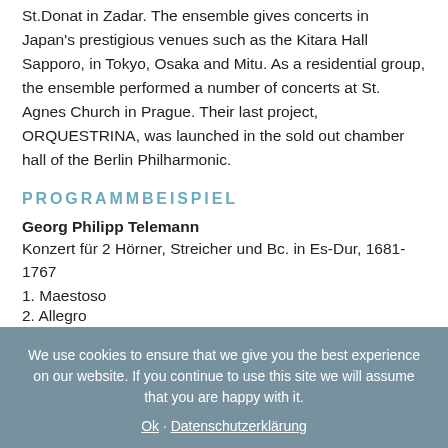St.Donat in Zadar. The ensemble gives concerts in Japan's prestigious venues such as the Kitara Hall Sapporo, in Tokyo, Osaka and Mitu. As a residential group, the ensemble performed a number of concerts at St. Agnes Church in Prague. Their last project, ORQUESTRINA, was launched in the sold out chamber hall of the Berlin Philharmonic.
PROGRAMMBEISPIEL
Georg Philipp Telemann
Konzert für 2 Hörner, Streicher und Bc. in Es-Dur, 1681-1767
1. Maestoso
2. Allegro
We use cookies to ensure that we give you the best experience on our website. If you continue to use this site we will assume that you are happy with it.
Ok · Datenschutzerklärung